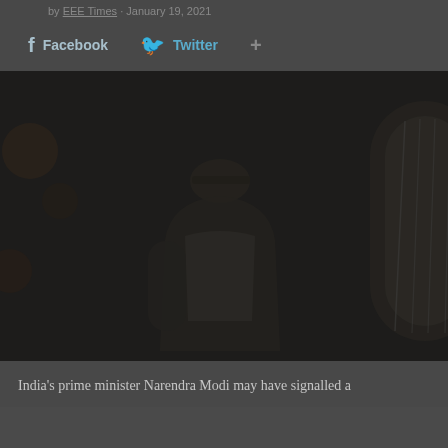by EEE Times · January 19, 2021
Facebook   Twitter   +
[Figure (photo): Dark photograph of a person from behind wearing a cap, seated in front of an arched doorway or window. The image has a dark, moody tone with bokeh background lights.]
India's prime minister Narendra Modi may have signalled a